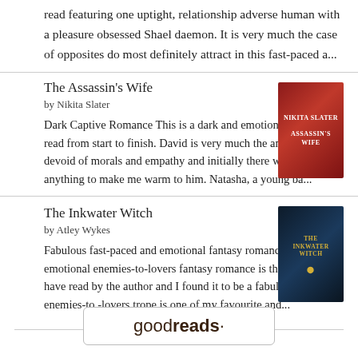read featuring one uptight, relationship adverse human with a pleasure obsessed Shael daemon. It is very much the case of opposites do most definitely attract in this fast-paced a...
The Assassin's Wife
by Nikita Slater
Dark Captive Romance This is a dark and emotionally complex read from start to finish. David is very much the anti-hero, devoid of morals and empathy and initially there was little if anything to make me warm to him. Natasha, a young ba...
[Figure (photo): Book cover of The Assassin's Wife by Nikita Slater - dark red/crimson cover]
The Inkwater Witch
by Atley Wykes
Fabulous fast-paced and emotional fantasy romance. This emotional enemies-to-lovers fantasy romance is the first book I have read by the author and I found it to be a fabulous read. The enemies-to -lovers trope is one of my favourite and...
[Figure (photo): Book cover of The Inkwater Witch by Atley Wykes - dark blue/navy cover with gold text]
[Figure (logo): Goodreads logo in a rounded rectangle box]